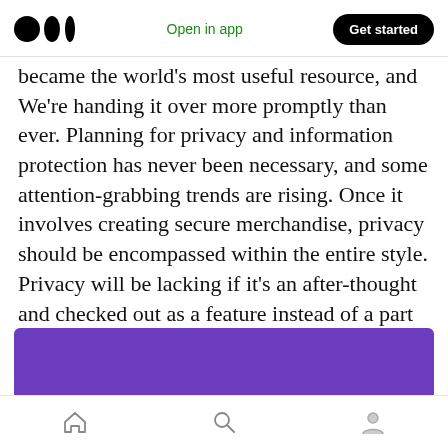Medium logo | Open in app | Get started
became the world's most useful resource, and We're handing it over more promptly than ever. Planning for privacy and information protection has never been necessary, and some attention-grabbing trends are rising. Once it involves creating secure merchandise, privacy should be encompassed within the entire style. Privacy will be lacking if it's an after-thought and checked out as a feature instead of a part of the merchandise.
[Figure (other): Purple banner/image partially visible at bottom of article]
Bottom navigation bar with home, search, and profile icons